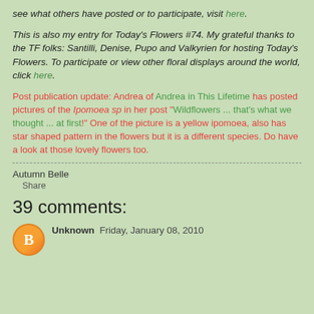see what others have posted or to participate, visit here.
This is also my entry for Today's Flowers #74. My grateful thanks to the TF folks: Santilli, Denise, Pupo and Valkyrien for hosting Today's Flowers. To participate or view other floral displays around the world, click here.
Post publication update: Andrea of Andrea in This Lifetime has posted pictures of the Ipomoea sp in her post "Wildflowers ... that's what we thought ... at first!" One of the picture is a yellow ipomoea, also has star shaped pattern in the flowers but it is a different species. Do have a look at those lovely flowers too.
Autumn Belle
Share
39 comments:
Unknown  Friday, January 08, 2010